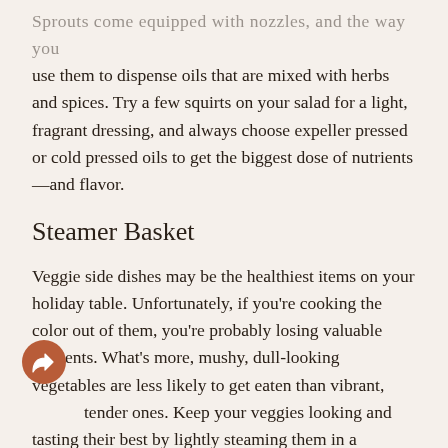Sprouts come equipped with nozzles, and the way you use them to dispense oils that are mixed with herbs and spices. Try a few squirts on your salad for a light, fragrant dressing, and always choose expeller pressed or cold pressed oils to get the biggest dose of nutrients—and flavor.
Steamer Basket
Veggie side dishes may be the healthiest items on your holiday table. Unfortunately, if you're cooking the color out of them, you're probably losing valuable nutrients. What's more, mushy, dull-looking vegetables are less likely to get eaten than vibrant, tender ones. Keep your veggies looking and tasting their best by lightly steaming them in a stainless steamer basket instead.